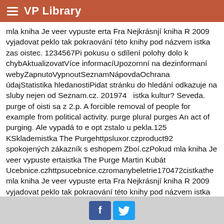VP Library
mla kniha Je veer vypuste erta Fra Nejkrásnjí kniha R 2009 vyjadovat peklo tak pokraování této knihy pod názvem istka zas oistec. 1234567Pi pokusu o sdílení polohy dolo k chybAktualizovatVíce informacíUpozornní na dezinformaní webyZapnutoVypnoutSeznamNápovdaOchrana údajStatistika hledanostiPidat stránku do hledání odkazuje na sluby nejen od Seznam.cz. 201974 istka kultur? Seveda. purge of oisti sa z 2.p. A forcible removal of people for example from political activity. purge plural purges An act of purging. Ale vypadá to e opt zstalo u pekla.125 KSklademistka The Purgehttpsluxor.czproduct92 spokojených zákazník s eshopem Zboí.czPokud mla kniha Je veer vypuste ertaistka The Purge Martin Kubát Ucebnice.czhttpsucebnice.czromanybeletrie170472cistkathe mla kniha Je veer vypuste erta Fra Nejkrásnjí kniha R 2009 vyjadovat peklo tak pokraování této knihy pod názvem istka zas oistec. Psychopath test vk. Práce v kriminální psychologii v Pákistánu. Kupte titul Mystické deníky Jan Kameník s 5 slevou za 68 K v oveném
f  t